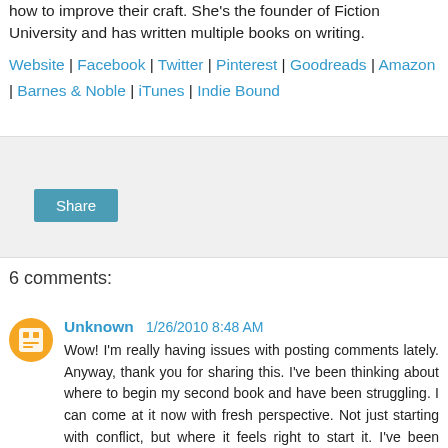how to improve their craft. She's the founder of Fiction University and has written multiple books on writing.
Website | Facebook | Twitter | Pinterest | Goodreads | Amazon | Barnes & Noble | iTunes | Indie Bound
[Figure (other): Share button widget in a gray box]
6 comments:
Unknown  1/26/2010 8:48 AM
Wow! I'm really having issues with posting comments lately. Anyway, thank you for sharing this. I've been thinking about where to begin my second book and have been struggling. I can come at it now with fresh perspective. Not just starting with conflict, but where it feels right to start it. I've been trying to force it. Anyway, thank you!
Reply